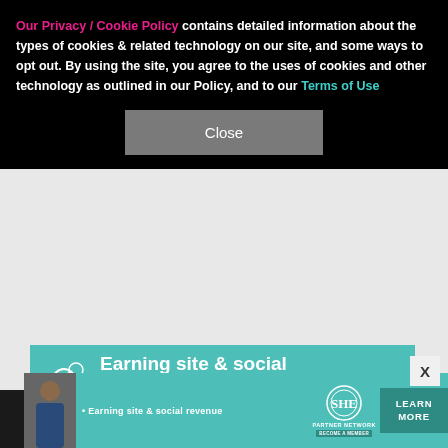Our Privacy / Cookie Policy contains detailed information about the types of cookies & related technology on our site, and some ways to opt out. By using the site, you agree to the uses of cookies and other technology as outlined in our Policy, and to our Terms of Use
[Figure (screenshot): Cookie consent banner with close button on black background overlaying a teal promotional card]
Earning site & social revenue
Traffic growth
Speaking on our stages
LEARN MORE
[Figure (infographic): Bottom advertisement banner for SHE Partner Network featuring a person, text 'Earning site & social revenue', SHE logo, and LEARN MORE button]